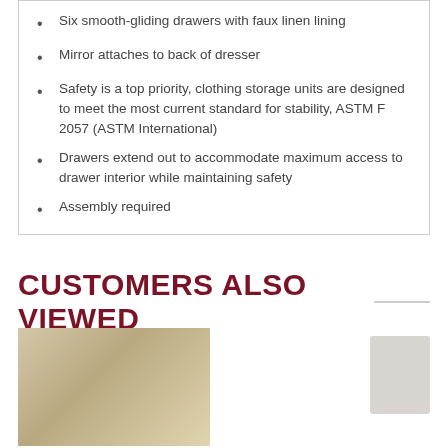Six smooth-gliding drawers with faux linen lining
Mirror attaches to back of dresser
Safety is a top priority, clothing storage units are designed to meet the most current standard for stability, ASTM F 2057 (ASTM International)
Drawers extend out to accommodate maximum access to drawer interior while maintaining safety
Assembly required
CUSTOMERS ALSO VIEWED
[Figure (photo): Product image showing a furniture item, partially visible at the bottom of the page]